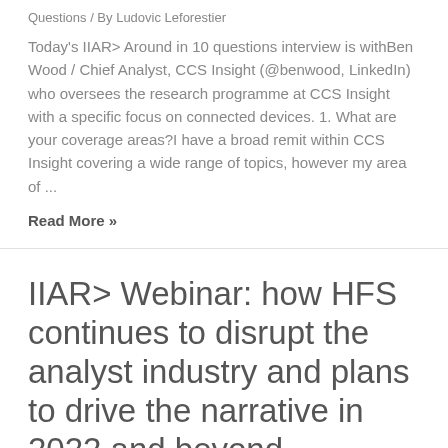Questions / By Ludovic Leforestier
Today's IIAR> Around in 10 questions interview is withBen Wood / Chief Analyst, CCS Insight (@benwood, LinkedIn) who oversees the research programme at CCS Insight with a specific focus on connected devices. 1. What are your coverage areas?I have a broad remit within CCS Insight covering a wide range of topics, however my area of ...
Read More »
IIAR> Webinar: how HFS continues to disrupt the analyst industry and plans to drive the narrative in 2022 and beyond
Leave a Comment / Events, HFS Research, IIAR> Analyst Firm Webinar, IIAR> Around In 10 Questions, IIAR> Webinar, IT